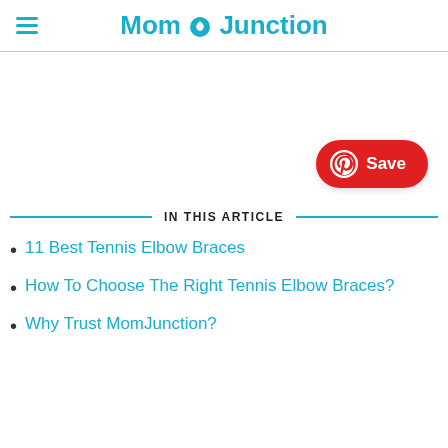MomJunction
[Figure (other): White blank content area with a Pinterest Save button in the bottom right corner]
IN THIS ARTICLE
11 Best Tennis Elbow Braces
How To Choose The Right Tennis Elbow Braces?
Why Trust MomJunction?